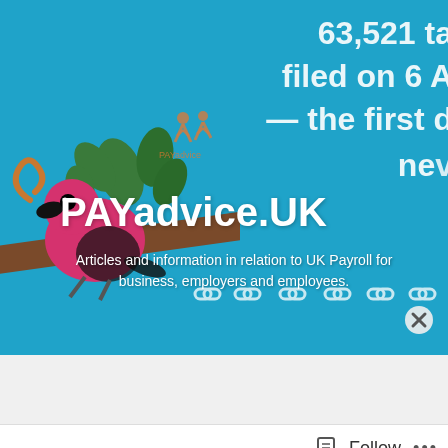[Figure (screenshot): PAYadvice.UK website banner/header screenshot showing a cartoon bird with a worm on a branch against a blue background, with large white text showing '63,521 ta... filed on 6 A... — the first d... ne...' partially cropped on the right side. The PAYadvice logo (two stylized human figures) appears in the middle area. Bold white text reads 'PAYadvice.UK' and below it 'Articles and information in relation to UK Payroll for business, employers and employees.' Chain link icons appear at the bottom of the banner. A close button (X) appears at bottom right of the image area.]
Advertisements
Search, browse, and email
Follow
...